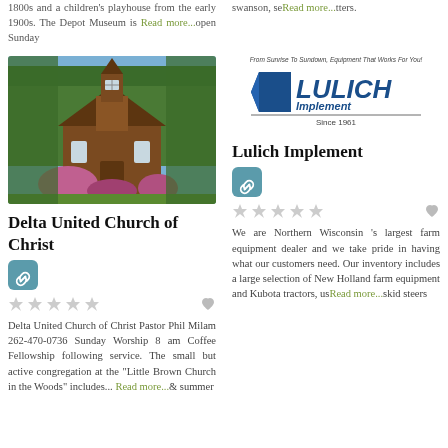1800s and a children's playhouse from the early 1900s. The Depot Museum is Read more...open Sunday
swanson, se Read more...tters.
[Figure (photo): Photo of Delta United Church of Christ, a small brown wooden church with a steeple, surrounded by trees and flowering shrubs.]
Delta United Church of Christ
[Figure (logo): Lulich Implement logo - From Sunrise To Sundown, Equipment That Works For You! Since 1961]
Lulich Implement
Delta United Church of Christ Pastor Phil Milam 262-470-0736 Sunday Worship 8 am Coffee Fellowship following service. The small but active congregation at the "Little Brown Church in the Woods" includes... Read more...& summer
We are Northern Wisconsin 's largest farm equipment dealer and we take pride in having what our customers need. Our inventory includes a large selection of New Holland farm equipment and Kubota tractors, us Read more...skid steers